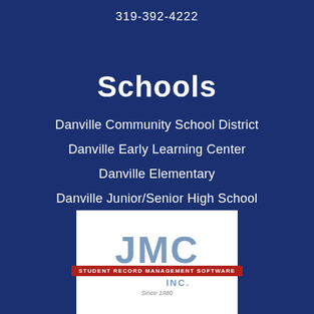319-392-4222
Schools
Danville Community School District
Danville Early Learning Center
Danville Elementary
Danville Junior/Senior High School
[Figure (logo): JMC Inc. Student Record Management Software logo on white background with blue JMC letters, red banner reading STUDENT RECORD MANAGEMENT SOFTWARE, INC. text, and Since 1980 tagline]